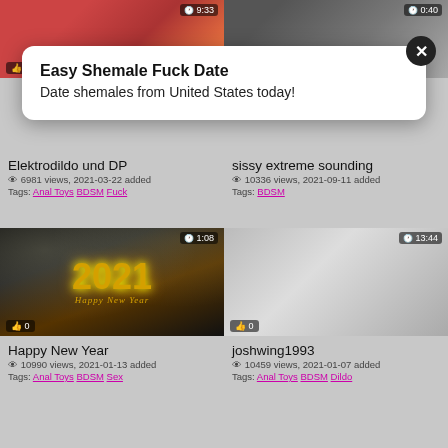[Figure (screenshot): Top-left video thumbnail - explicit adult content, red/orange tones]
[Figure (screenshot): Top-right video thumbnail - adult content, dark tones]
Easy Shemale Fuck Date
Date shemales from United States today!
Elektrodildo und DP
6981 views, 2021-03-22 added
Tags: Anal Toys BDSM Fuck
sissy extreme sounding
10336 views, 2021-09-11 added
Tags: BDSM
[Figure (screenshot): Bottom-left video thumbnail - Happy New Year 2021 fireworks gold text]
[Figure (screenshot): Bottom-right video thumbnail - adult bondage content]
Happy New Year
10990 views, 2021-01-13 added
Tags: Anal Toys BDSM Sex
joshwing1993
10459 views, 2021-01-07 added
Tags: Anal Toys BDSM Dildo